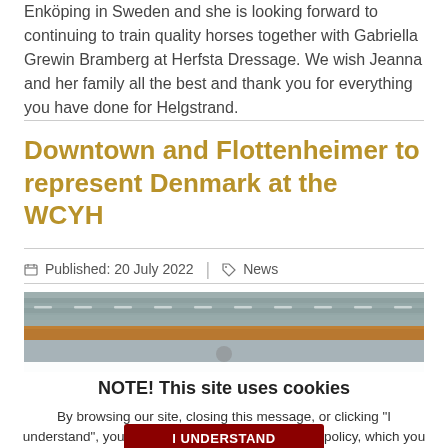Enköping in Sweden and she is looking forward to continuing to train quality horses together with Gabriella Grewin Bramberg at Herfsta Dressage. We wish Jeanna and her family all the best and thank you for everything you have done for Helgstrand.
Downtown and Flottenheimer to represent Denmark at the WCYH
Published: 20 July 2022 | News
[Figure (photo): Photograph showing a rooftop with stone slates and wooden beams]
NOTE! This site uses cookies
By browsing our site, closing this message, or clicking "I understand", you agree on our cookie and privacy policy, which you can read here: Learn more
I UNDERSTAND